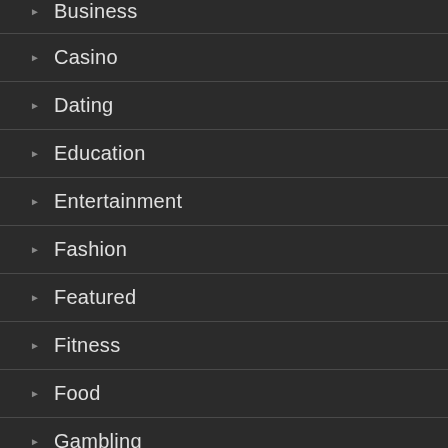Business
Casino
Dating
Education
Entertainment
Fashion
Featured
Fitness
Food
Gambling